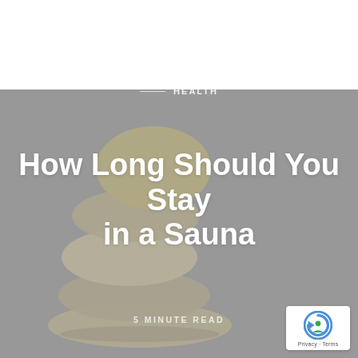[Figure (photo): Stacked zen stones on grey background with grey overlay. White top portion of page.]
HEALTH
How Long Should You Stay in a Sauna
5 MINUTE READ
[Figure (logo): Google reCAPTCHA badge with Privacy and Terms text]